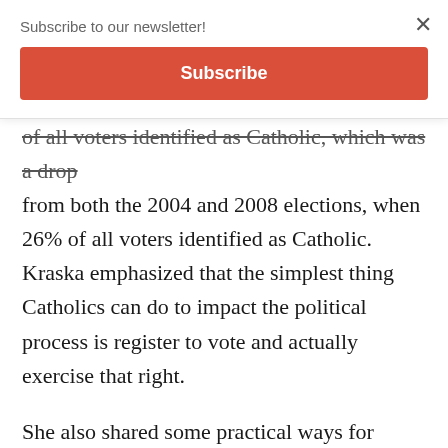Subscribe to our newsletter!
Subscribe
of all voters identified as Catholic, which was a drop from both the 2004 and 2008 elections, when 26% of all voters identified as Catholic. Kraska emphasized that the simplest thing Catholics can do to impact the political process is register to vote and actually exercise that right.
She also shared some practical ways for Catholics to bring their faith into politics, including getting involved in a campaign, contacting legislators via phone or email, and even considering running for office themselves (see: “Let’s Get Political”).